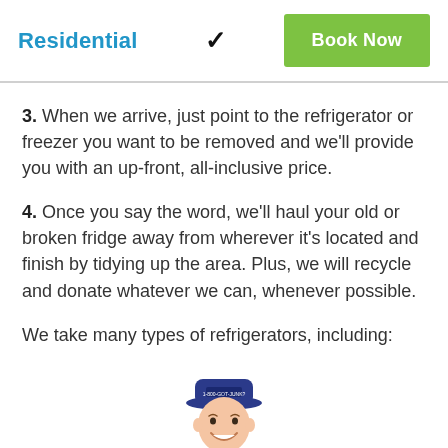Residential  ✓  Book Now
3. When we arrive, just point to the refrigerator or freezer you want to be removed and we'll provide you with an up-front, all-inclusive price.
4. Once you say the word, we'll haul your old or broken fridge away from wherever it's located and finish by tidying up the area. Plus, we will recycle and donate whatever we can, whenever possible.
We take many types of refrigerators, including:
[Figure (photo): Smiling man wearing a dark blue cap with company logo, partially cropped at bottom of page]